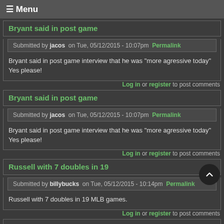☰ Menu
Bryant said in post game
Submitted by jacos on Tue, 05/12/2015 - 10:07pm Permalink
Bryant said in post game interview that he was "more agressive today" Yes please!
Log in or register to post comments
Bryant said in post game
Submitted by jacos on Tue, 05/12/2015 - 10:07pm Permalink
Bryant said in post game interview that he was "more agressive today" Yes please!
Log in or register to post comments
Russell with 7 doubles in 19
Submitted by billybucks on Tue, 05/12/2015 - 10:14pm Permalink
Russell with 7 doubles in 19 MLB games.
Log in or register to post comments
yeah...screw you matt